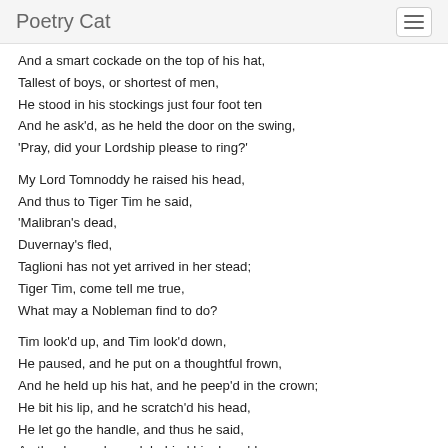Poetry Cat
And a smart cockade on the top of his hat,
Tallest of boys, or shortest of men,
He stood in his stockings just four foot ten
And he ask'd, as he held the door on the swing,
'Pray, did your Lordship please to ring?'
My Lord Tomnoddy he raised his head,
And thus to Tiger Tim he said,
'Malibran's dead,
Duvernay's fled,
Taglioni has not yet arrived in her stead;
Tiger Tim, come tell me true,
What may a Nobleman find to do?
Tim look'd up, and Tim look'd down,
He paused, and he put on a thoughtful frown,
And he held up his hat, and he peep'd in the crown;
He bit his lip, and he scratch'd his head,
He let go the handle, and thus he said,
As the door, released, behind him bang'd:
'An't please you, my Lord, there 's a man to be hang'd,